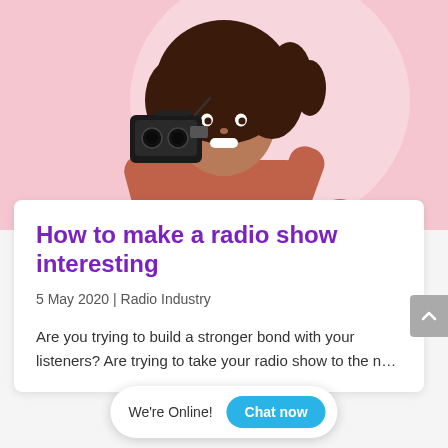[Figure (photo): Woman with curly hair wearing a red/rust sweater, holding a boombox on her shoulder and giving a thumbs up, against a pink background]
How to make a radio show interesting
5 May 2020 | Radio Industry
Are you trying to build a stronger bond with your listeners? Are trying to take your radio show to the n…
We're Online!  Chat now